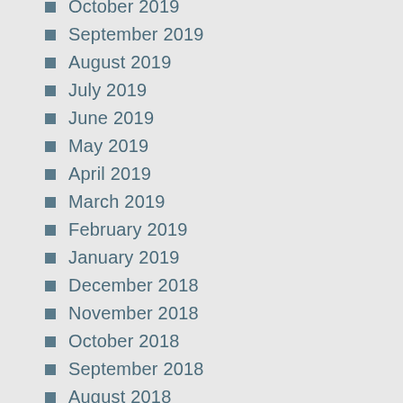October 2019
September 2019
August 2019
July 2019
June 2019
May 2019
April 2019
March 2019
February 2019
January 2019
December 2018
November 2018
October 2018
September 2018
August 2018
July 2018
June 2018
May 2018
April 2018
March 2018
February 2018
January 2018
December 2017